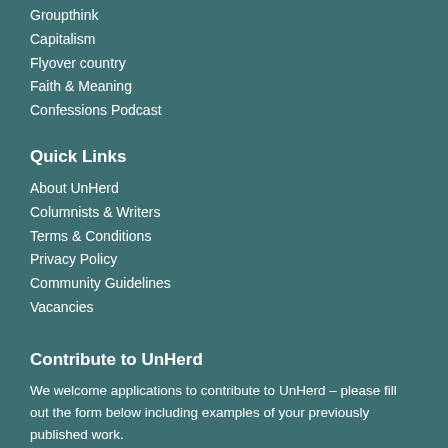Groupthink
Capitalism
Flyover country
Faith & Meaning
Confessions Podcast
Quick Links
About UnHerd
Columnists & Writers
Terms & Conditions
Privacy Policy
Community Guidelines
Vacancies
Contribute to UnHerd
We welcome applications to contribute to UnHerd – please fill out the form below including examples of your previously published work.
Please click here to submit your pitch.